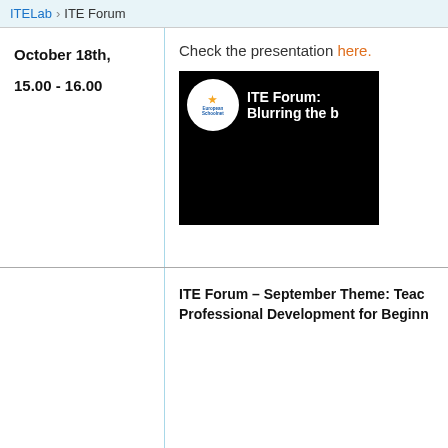ITELab · ITE Forum
October 18th,

15.00 - 16.00
Check the presentation here.
[Figure (screenshot): Video thumbnail showing European Schoolnet logo with text 'ITE Forum: Blurring the b...' on a black background]
ITE Forum – September Theme: Teac... Professional Development for Beginn...